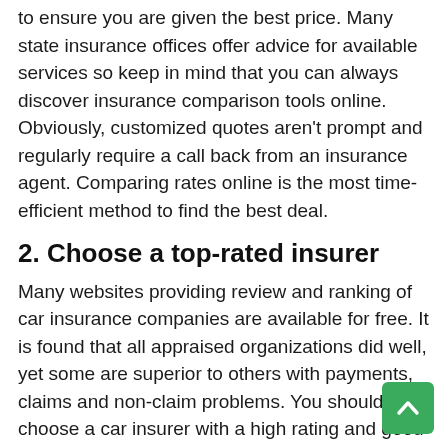to ensure you are given the best price. Many state insurance offices offer advice for available services so keep in mind that you can always discover insurance comparison tools online. Obviously, customized quotes aren't prompt and regularly require a call back from an insurance agent. Comparing rates online is the most time-efficient method to find the best deal.
2. Choose a top-rated insurer
Many websites providing review and ranking of car insurance companies are available for free. It is found that all appraised organizations did well, yet some are superior to others with payments, claims and non-claim problems. You should choose a car insurer with a high rating and good review.
3. Having good credit